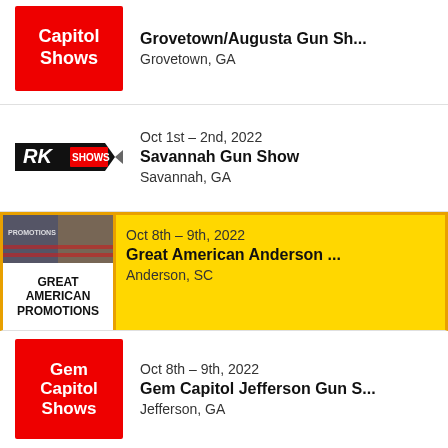[Figure (logo): Capitol Shows red logo]
Grovetown/Augusta Gun Sh...
Grovetown, GA
[Figure (logo): RK Shows logo]
Oct 1st – 2nd, 2022
Savannah Gun Show
Savannah, GA
[Figure (logo): Great American Promotions logo with image and text]
Oct 8th – 9th, 2022
Great American Anderson ...
Anderson, SC
[Figure (logo): Gem Capitol Shows red logo]
Oct 8th – 9th, 2022
Gem Capitol Jefferson Gun S...
Jefferson, GA